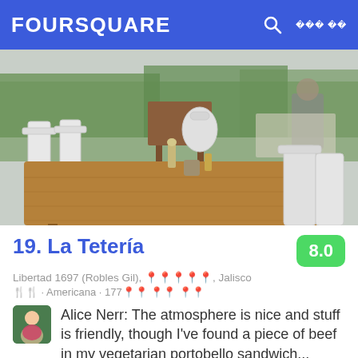FOURSQUARE
[Figure (photo): Outdoor restaurant patio with a large rustic wooden table in the foreground, white chairs around it, green trees in the background, overcast daylight.]
19. La Tetería
8.0
Libertad 1697 (Robles Gil), ????????, Jalisco
?? · Americana · 177?? ?? ??
Alice Nerr: The atmosphere is nice and stuff is friendly, though I've found a piece of beef in my vegetarian portobello sandwich...